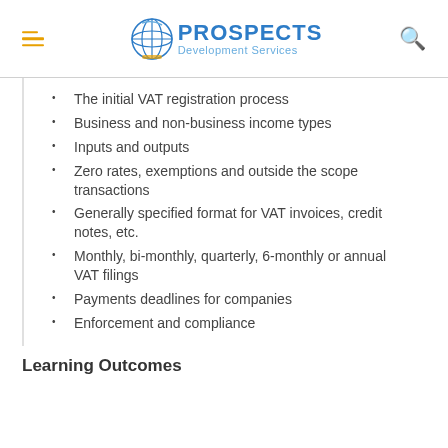PROSPECTS Development Services
The initial VAT registration process
Business and non-business income types
Inputs and outputs
Zero rates, exemptions and outside the scope transactions
Generally specified format for VAT invoices, credit notes, etc.
Monthly, bi-monthly, quarterly, 6-monthly or annual VAT filings
Payments deadlines for companies
Enforcement and compliance
Learning Outcomes